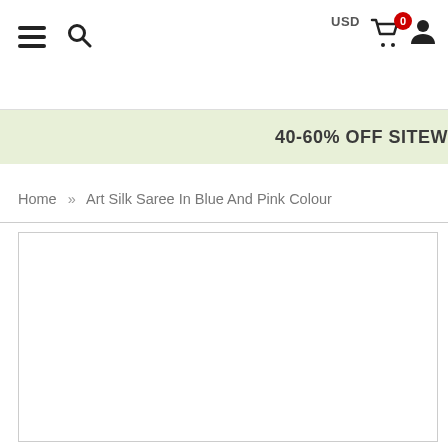Navigation header with hamburger menu, search icon, USD label, cart with 0 badge, and user icon
40-60% OFF SITEW
Home » Art Silk Saree In Blue And Pink Colour
[Figure (photo): Product image area — white rectangle with light border, product image not visible]